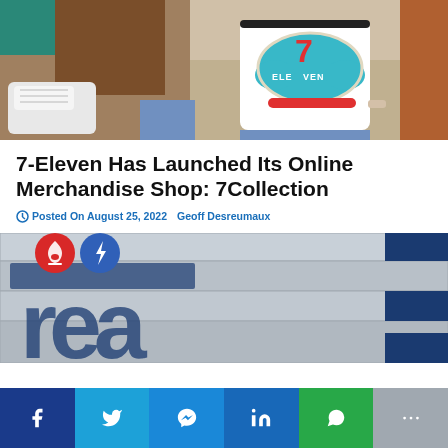[Figure (photo): Two people sitting outdoors. Left person wearing brown pants, teal socks, white sneakers. Right person wearing white 7-Eleven branded ringer t-shirt with teal 7-Eleven logo badge.]
7-Eleven Has Launched Its Online Merchandise Shop: 7Collection
Posted On August 25, 2022   Geoff Desreumaux
[Figure (photo): 7-Eleven store exterior sign in blue and silver/grey, showing partial large numerals. Two social sharing circle buttons overlaid on left: red flame/candle icon and blue lightning bolt icon.]
[Figure (infographic): Social sharing bar with buttons: Facebook (dark blue), Twitter (light blue), Messenger (blue), LinkedIn (medium blue), WhatsApp (green), More (grey)]